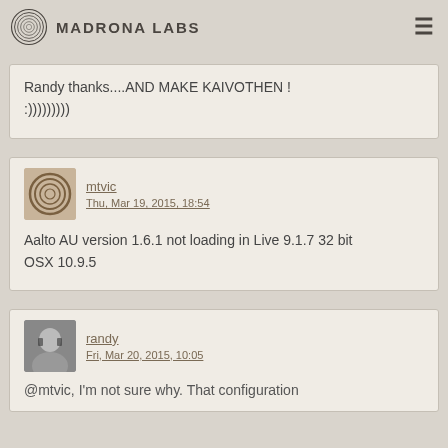Madrona Labs
Randy thanks....AND MAKE KAIVOTHEN ! :)))))))))
mtvic
Thu, Mar 19, 2015, 18:54

Aalto AU version 1.6.1 not loading in Live 9.1.7 32 bit
OSX 10.9.5
randy
Fri, Mar 20, 2015, 10:05

@mtvic, I'm not sure why. That configuration